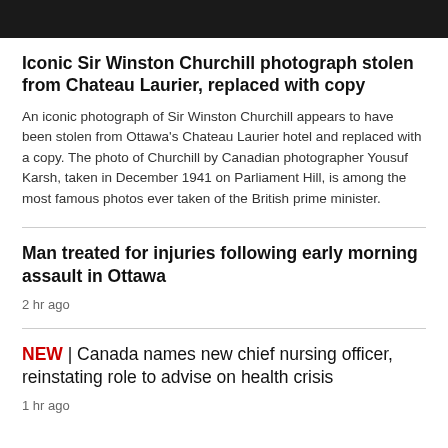[Figure (photo): Dark/black image at top of page, partial cropped photo]
Iconic Sir Winston Churchill photograph stolen from Chateau Laurier, replaced with copy
An iconic photograph of Sir Winston Churchill appears to have been stolen from Ottawa's Chateau Laurier hotel and replaced with a copy. The photo of Churchill by Canadian photographer Yousuf Karsh, taken in December 1941 on Parliament Hill, is among the most famous photos ever taken of the British prime minister.
Man treated for injuries following early morning assault in Ottawa
2 hr ago
NEW | Canada names new chief nursing officer, reinstating role to advise on health crisis
1 hr ago